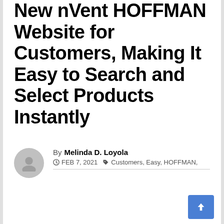New nVent HOFFMAN Website for Customers, Making It Easy to Search and Select Products Instantly
By Melinda D. Loyola
FEB 7, 2021  Customers, Easy, HOFFMAN, Instantly, Making, nVent, powers, products, search, Select, website